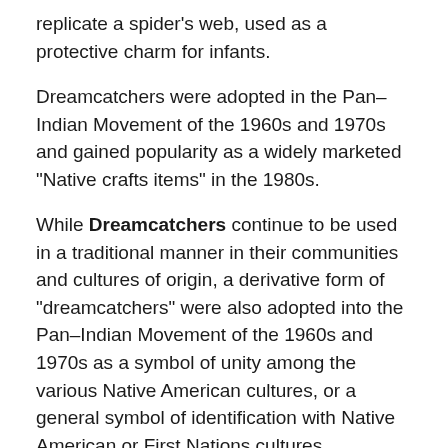replicate a spider's web, used as a protective charm for infants.
Dreamcatchers were adopted in the Pan–Indian Movement of the 1960s and 1970s and gained popularity as a widely marketed "Native crafts items" in the 1980s.
While Dreamcatchers continue to be used in a traditional manner in their communities and cultures of origin, a derivative form of "dreamcatchers" were also adopted into the Pan–Indian Movement of the 1960s and 1970s as a symbol of unity among the various Native American cultures, or a general symbol of identification with Native American or First Nations cultures.
The name "dream catcher" was published in mainstream, non–Native media in the 1970s and became widely known as a "Native crafts item" by the 1980s, by the early 1990s